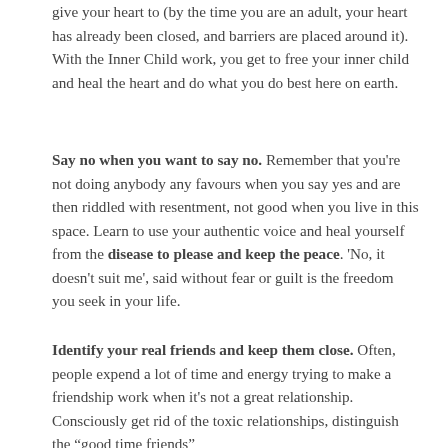give your heart to (by the time you are an adult, your heart has already been closed, and barriers are placed around it). With the Inner Child work, you get to free your inner child and heal the heart and do what you do best here on earth.
Say no when you want to say no. Remember that you're not doing anybody any favours when you say yes and are then riddled with resentment, not good when you live in this space. Learn to use your authentic voice and heal yourself from the disease to please and keep the peace. 'No, it doesn't suit me', said without fear or guilt is the freedom you seek in your life.
Identify your real friends and keep them close. Often, people expend a lot of time and energy trying to make a friendship work when it's not a great relationship. Consciously get rid of the toxic relationships, distinguish the "good time friends"